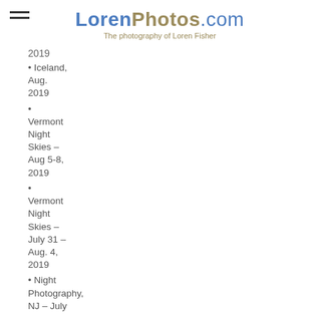LorenPhotos.com – The photography of Loren Fisher
2019
• Iceland, Aug. 2019
• Vermont Night Skies – Aug 5-8, 2019
• Vermont Night Skies – July 31 – Aug. 4, 2019
• Night Photography, NJ – July 27, 2019
• Black & White, NJ – July 27, 2019